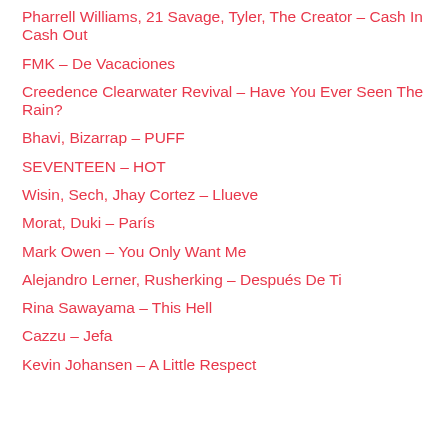Pharrell Williams, 21 Savage, Tyler, The Creator – Cash In Cash Out
FMK – De Vacaciones
Creedence Clearwater Revival – Have You Ever Seen The Rain?
Bhavi, Bizarrap – PUFF
SEVENTEEN – HOT
Wisin, Sech, Jhay Cortez – Llueve
Morat, Duki – París
Mark Owen – You Only Want Me
Alejandro Lerner, Rusherking – Después De Ti
Rina Sawayama – This Hell
Cazzu – Jefa
Kevin Johansen – A Little Respect